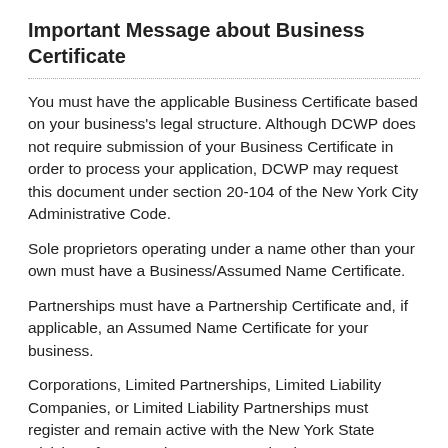Important Message about Business Certificate
You must have the applicable Business Certificate based on your business’s legal structure. Although DCWP does not require submission of your Business Certificate in order to process your application, DCWP may request this document under section 20-104 of the New York City Administrative Code.
Sole proprietors operating under a name other than your own must have a Business/Assumed Name Certificate.
Partnerships must have a Partnership Certificate and, if applicable, an Assumed Name Certificate for your business.
Corporations, Limited Partnerships, Limited Liability Companies, or Limited Liability Partnerships must register and remain active with the New York State Division of Corporations. You can check your status at dos.ny.gov/corps.